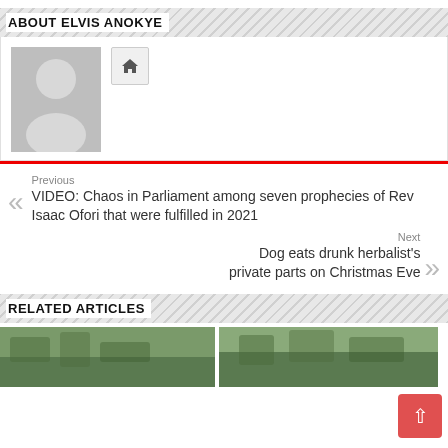ABOUT ELVIS ANOKYE
[Figure (photo): Author profile placeholder with silhouette avatar and home icon button]
Previous
VIDEO: Chaos in Parliament among seven prophecies of Rev Isaac Ofori that were fulfilled in 2021
Next
Dog eats drunk herbalist's private parts on Christmas Eve
RELATED ARTICLES
[Figure (photo): Two article thumbnail images side by side showing trees/foliage]